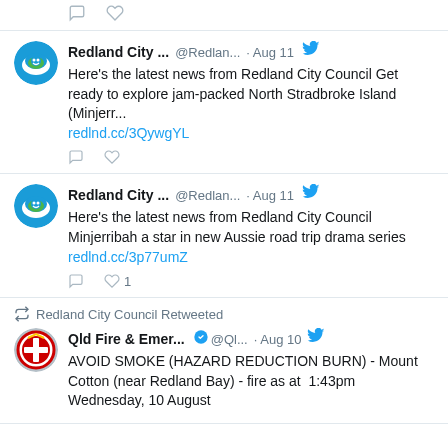[Figure (screenshot): Top partial tweet card showing only action icons (comment and heart)]
Redland City ... @Redlan... · Aug 11 — Here's the latest news from Redland City Council Get ready to explore jam-packed North Stradbroke Island (Minjerr... redlnd.cc/3QywgYL
Redland City ... @Redlan... · Aug 11 — Here's the latest news from Redland City Council Minjerribah a star in new Aussie road trip drama series redlnd.cc/3p77umZ
Redland City Council Retweeted — Qld Fire & Emer... @Ql... · Aug 10 — AVOID SMOKE (HAZARD REDUCTION BURN) - Mount Cotton (near Redland Bay) - fire as at  1:43pm Wednesday, 10 August